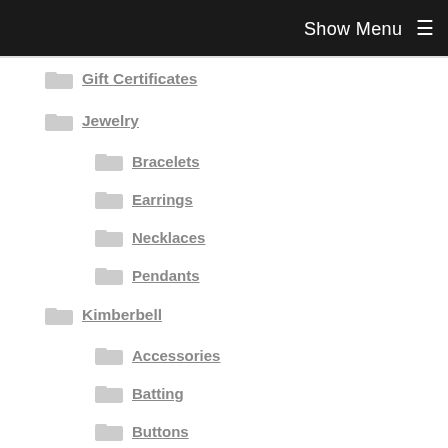Show Menu ☰
Gift Certificates
Jewelry
Bracelets
Earrings
Necklaces
Pendants
Kimberbell
Accessories
Batting
Buttons
Embroideries
Fabric
Patterns